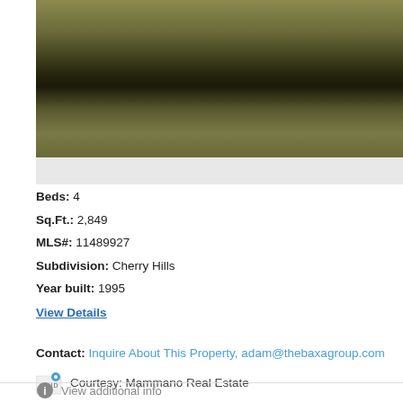[Figure (photo): Aerial or ground-level photo of a grassy field or lawn area with shadows, dark tones dominating the lower portion and golden-green grass visible at top]
Beds: 4
Sq.Ft.: 2,849
MLS#: 11489927
Subdivision: Cherry Hills
Year built: 1995
View Details
Contact: Inquire About This Property, adam@thebaxagroup.com
Courtesy: Mammano Real Estate
View additional info